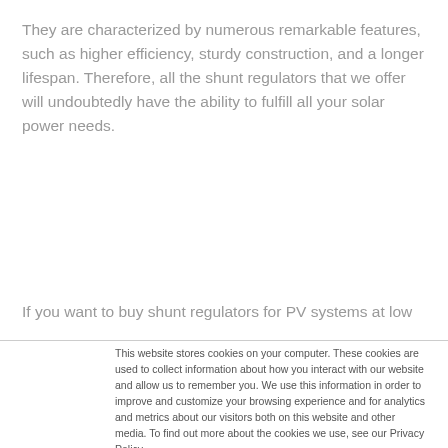They are characterized by numerous remarkable features, such as higher efficiency, sturdy construction, and a longer lifespan. Therefore, all the shunt regulators that we offer will undoubtedly have the ability to fulfill all your solar power needs.
If you want to buy shunt regulators for PV systems at low
This website stores cookies on your computer. These cookies are used to collect information about how you interact with our website and allow us to remember you. We use this information in order to improve and customize your browsing experience and for analytics and metrics about our visitors both on this website and other media. To find out more about the cookies we use, see our Privacy Policy
If you decline, your information won't be tracked when you visit this website. A single cookie will be used in your browser to remember your preference not to be tracked.